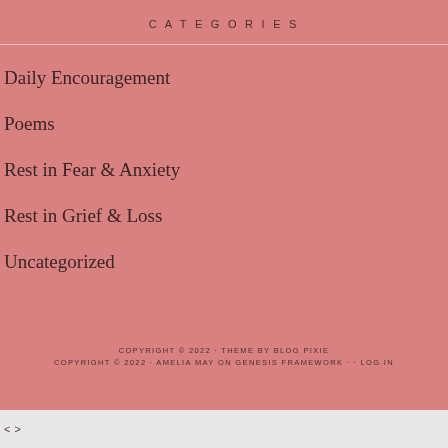CATEGORIES
Daily Encouragement
Poems
Rest in Fear & Anxiety
Rest in Grief & Loss
Uncategorized
COPYRIGHT © 2022 · THEME BY BLOG PIXIE COPYRIGHT © 2022 · AMELIA MAY ON GENESIS FRAMEWORK · · LOG IN
< >